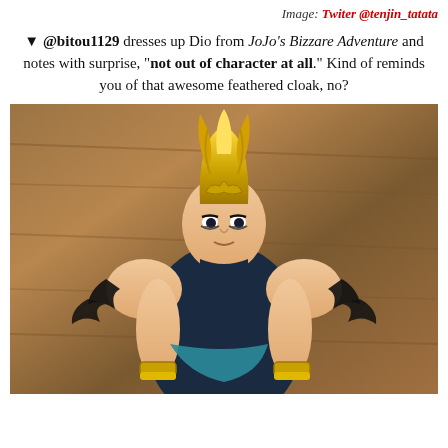Image: Twiter @tenjin_tatata
▼ @bitou1129 dresses up Dio from JoJo's Bizzare Adventure and notes with surprise, "not out of character at all." Kind of reminds you of that awesome feathered cloak, no?
[Figure (photo): Photo of an anime action figure of Dio from JoJo's Bizarre Adventure, dressed with golden spiky hair headpiece, black sleeveless top with feathered shoulder pads, gold wrist bands, and teal sash, posed against a wooden background.]